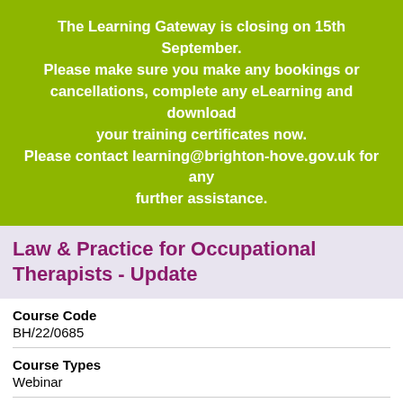The Learning Gateway is closing on 15th September. Please make sure you make any bookings or cancellations, complete any eLearning and download your training certificates now. Please contact learning@brighton-hove.gov.uk for any further assistance.
Law & Practice for Occupational Therapists - Update
Course Code
BH/22/0685
Course Types
Webinar
Overview
This course will give Occupational Therapists and Occupational Therapy Assistants an overview and update of law and will provide an opportunity to work through case